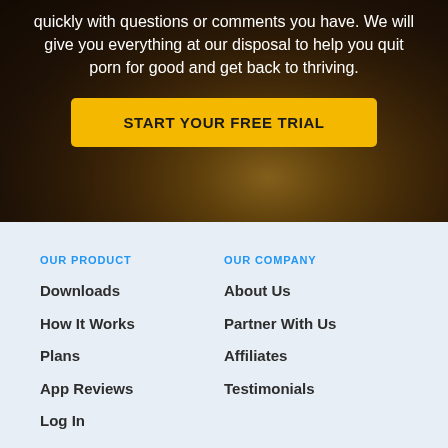quickly with questions or comments you have. We will give you everything at our disposal to help you quit porn for good and get back to thriving.
START YOUR FREE TRIAL
OUR PRODUCT
OUR COMPANY
Downloads
About Us
How It Works
Partner With Us
Plans
Affiliates
App Reviews
Testimonials
Log In